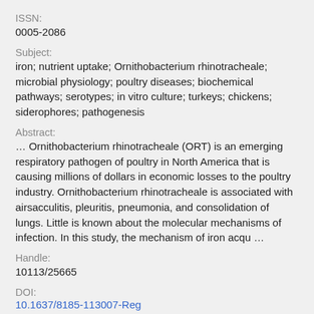ISSN:
0005-2086
Subject:
iron; nutrient uptake; Ornithobacterium rhinotracheale; microbial physiology; poultry diseases; biochemical pathways; serotypes; in vitro culture; turkeys; chickens; siderophores; pathogenesis
Abstract:
… Ornithobacterium rhinotracheale (ORT) is an emerging respiratory pathogen of poultry in North America that is causing millions of dollars in economic losses to the poultry industry. Ornithobacterium rhinotracheale is associated with airsacculitis, pleuritis, pneumonia, and consolidation of lungs. Little is known about the molecular mechanisms of infection. In this study, the mechanism of iron acqu …
Handle:
10113/25665
DOI:
10.1637/8185-113007-Reg